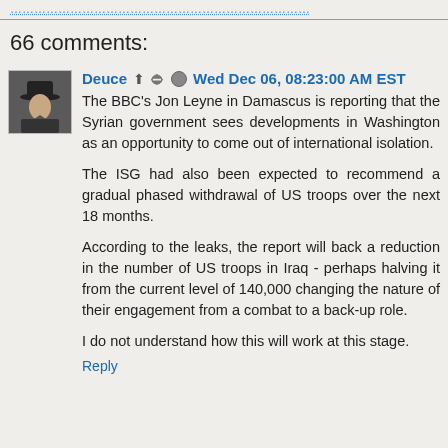66 comments:
Deuce ↑ ✏ Wed Dec 06, 08:23:00 AM EST
The BBC's Jon Leyne in Damascus is reporting that the Syrian government sees developments in Washington as an opportunity to come out of international isolation.

The ISG had also been expected to recommend a gradual phased withdrawal of US troops over the next 18 months.

According to the leaks, the report will back a reduction in the number of US troops in Iraq - perhaps halving it from the current level of 140,000 changing the nature of their engagement from a combat to a back-up role.

I do not understand how this will work at this stage.
Reply